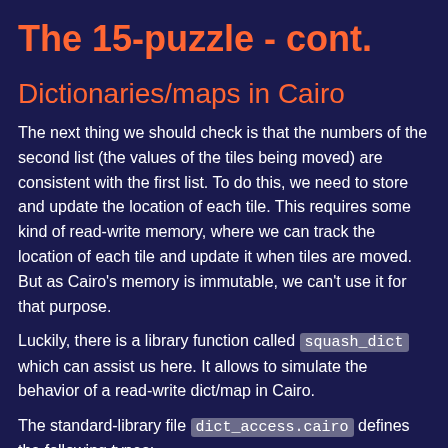The 15-puzzle - cont.
Dictionaries/maps in Cairo
The next thing we should check is that the numbers of the second list (the values of the tiles being moved) are consistent with the first list. To do this, we need to store and update the location of each tile. This requires some kind of read-write memory, where we can track the location of each tile and update it when tiles are moved. But as Cairo's memory is immutable, we can't use it for that purpose.
Luckily, there is a library function called squash_dict which can assist us here. It allows to simulate the behavior of a read-write dict/map in Cairo.
The standard-library file dict_access.cairo defines the following types: